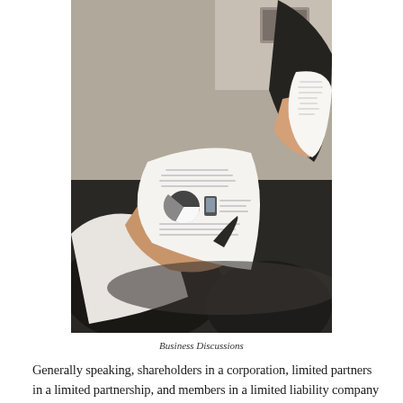[Figure (photo): Two people in business attire holding and reviewing documents with printed reports and charts visible on the papers.]
Business Discussions
Generally speaking, shareholders in a corporation, limited partners in a limited partnership, and members in a limited liability company are shielded from personal liability for the debts and obligations of the entity, which